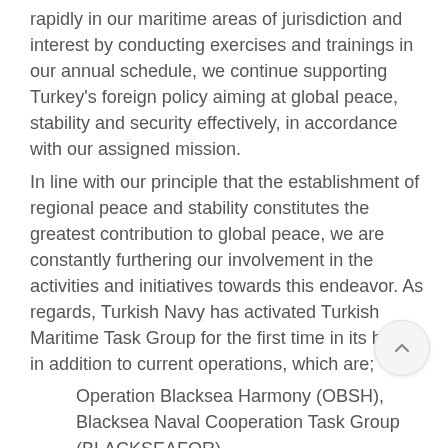rapidly in our maritime areas of jurisdiction and interest by conducting exercises and trainings in our annual schedule, we continue supporting Turkey's foreign policy aiming at global peace, stability and security effectively, in accordance with our assigned mission.
In line with our principle that the establishment of regional peace and stability constitutes the greatest contribution to global peace, we are constantly furthering our involvement in the activities and initiatives towards this endeavor. As regards, Turkish Navy has activated Turkish Maritime Task Group for the first time in its history in addition to current operations, which are;
Operation Blacksea Harmony (OBSH),
Blacksea Naval Cooperation Task Group (BLACKSEAFOR),
Operation Mediterranean Shield (OMS),
United Nations Interim Forces in Lebanon (UNIFIL)